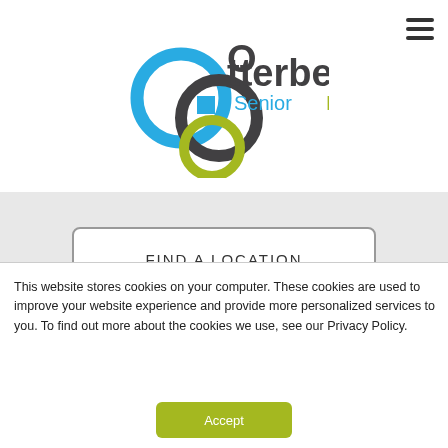[Figure (logo): Otterbein Senior Life logo with interlocking circles in blue and green, text 'Otterbein' in dark grey and 'Senior Life' in teal/green]
FIND A LOCATION
SCHEDULE A TOUR
This website stores cookies on your computer. These cookies are used to improve your website experience and provide more personalized services to you. To find out more about the cookies we use, see our Privacy Policy.
Accept